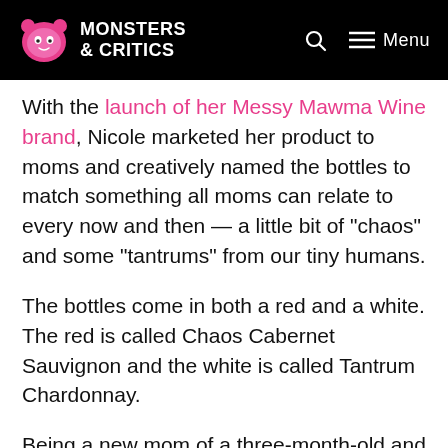MONSTERS & CRITICS
With the launch of her Messy Mawma Wine brand, Nicole marketed her product to moms and creatively named the bottles to match something all moms can relate to every now and then — a little bit of “chaos” and some “tantrums” from our tiny humans.
The bottles come in both a red and a white. The red is called Chaos Cabernet Sauvignon and the white is called Tantrum Chardonnay.
Being a new mom of a three-month-old and a long-time fan of Jersey Shore’s favorite